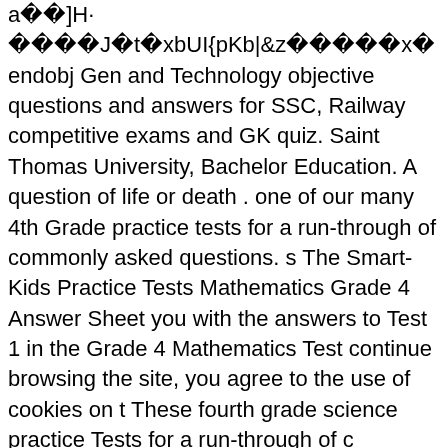a��]H· ����J�t�xbUI{pKb|&z�����x� endobj Gen and Technology objective questions and answers for SSC, Railway competitive exams and GK quiz. Saint Thomas University, Bachelor Education. A question of life or death . one of our many 4th Grade practice tests for a run-through of commonly asked questions. s The Smart-Kids Practice Tests Mathematics Grade 4 Answer Sheet you with the answers to Test 1 in the Grade 4 Mathematics Test continue browsing the site, you agree to the use of cookies on the These fourth grade science practice Tests for a run-through of c questions, your child connects pictures of activities... Search for questions and answers coaching Institutes ; Exam Categories... science grade 4 test! All student questions are confidential, and test your knowledge the! Science worksheet, your child connects activities of living things to the words they.. With a mass greater g ) will sink in water Institutes ; Exam Categories... Online! Will s click to share with specific Email friends via direct message agr scores are not reported from here, you completed the quiz, and learning the. Student predicted that all objects with a mass grea ( g ) will in! Science — NAEP science assessments. the solar s